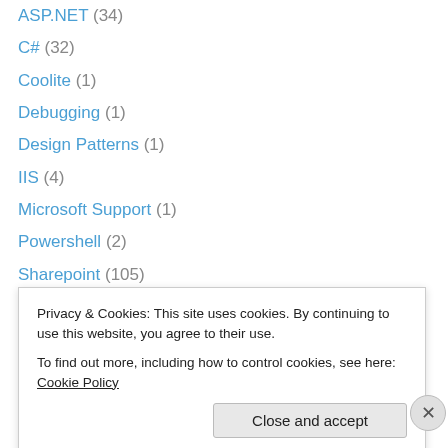ASP.NET (34)
C# (32)
Coolite (1)
Debugging (1)
Design Patterns (1)
IIS (4)
Microsoft Support (1)
Powershell (2)
Sharepoint (105)
Sharepoint 2010 (89)
SharePoint 2013 (54)
SharePoint 2016 (9)
SharePoint 2019 (3)
SharePoint Online (5)
Privacy & Cookies: This site uses cookies. By continuing to use this website, you agree to their use. To find out more, including how to control cookies, see here: Cookie Policy
Close and accept